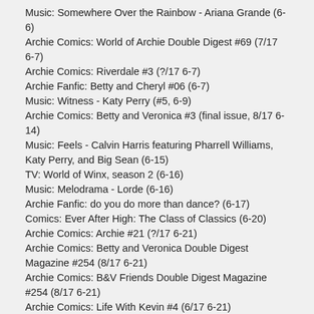Music: Somewhere Over the Rainbow - Ariana Grande (6-6)
Archie Comics: World of Archie Double Digest #69 (7/17 6-7)
Archie Comics: Riverdale #3 (?/17 6-7)
Archie Fanfic: Betty and Cheryl #06 (6-7)
Music: Witness - Katy Perry (#5, 6-9)
Archie Comics: Betty and Veronica #3 (final issue, 8/17 6-14)
Music: Feels - Calvin Harris featuring Pharrell Williams, Katy Perry, and Big Sean (6-15)
TV: World of Winx, season 2 (6-16)
Music: Melodrama - Lorde (6-16)
Archie Fanfic: do you do more than dance? (6-17)
Comics: Ever After High: The Class of Classics (6-20)
Archie Comics: Archie #21 (?/17 6-21)
Archie Comics: Betty and Veronica Double Digest Magazine #254 (8/17 6-21)
Archie Comics: B&V Friends Double Digest Magazine #254 (8/17 6-21)
Archie Comics: Life With Kevin #4 (6/17 6-21)
Music: Bridge Over Troubled Water - Artists for Grenfell (Dua Lipa and others) (6-21)
Film: Transformers: The Last Knight (6-21)
TV: The Mist (premiere, 6-22)
TV: Pretty Little Liars (finale, 6-27)
Archie Comics: Jughead #16 (final issue, 7/17? 6-28)